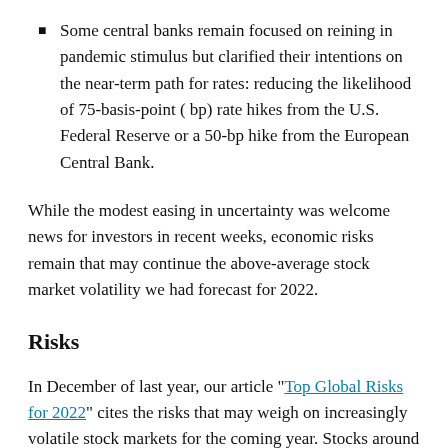Some central banks remain focused on reining in pandemic stimulus but clarified their intentions on the near-term path for rates: reducing the likelihood of 75-basis-point (bp) rate hikes from the U.S. Federal Reserve or a 50-bp hike from the European Central Bank.
While the modest easing in uncertainty was welcome news for investors in recent weeks, economic risks remain that may continue the above-average stock market volatility we had forecast for 2022.
Risks
In December of last year, our article "Top Global Risks for 2022" cites the risks that may weigh on increasingly volatile stock markets for the coming year. Stocks around the world have fallen this year mostly due to two of these risks: